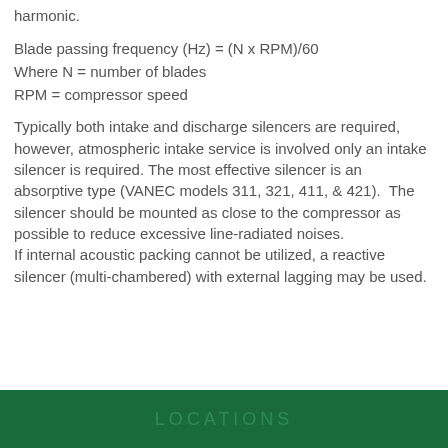harmonic.
Typically both intake and discharge silencers are required, however, atmospheric intake service is involved only an intake silencer is required. The most effective silencer is an absorptive type (VANEC models 311, 321, 411, & 421). The silencer should be mounted as close to the compressor as possible to reduce excessive line-radiated noises. If internal acoustic packing cannot be utilized, a reactive silencer (multi-chambered) with external lagging may be used.
LOCATIONS